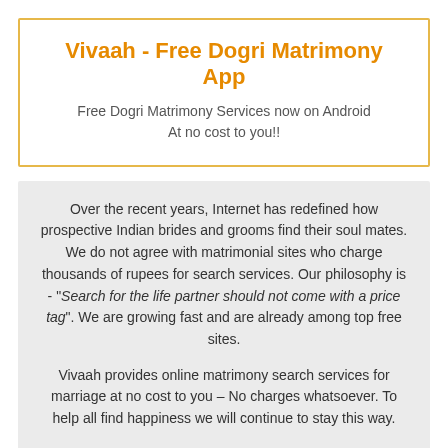Vivaah - Free Dogri Matrimony App
Free Dogri Matrimony Services now on Android
At no cost to you!!
Over the recent years, Internet has redefined how prospective Indian brides and grooms find their soul mates. We do not agree with matrimonial sites who charge thousands of rupees for search services. Our philosophy is - "Search for the life partner should not come with a price tag". We are growing fast and are already among top free sites.
Vivaah provides online matrimony search services for marriage at no cost to you – No charges whatsoever. To help all find happiness we will continue to stay this way.
© 2001-2022   Terms and Conditions
Passionately created for you.